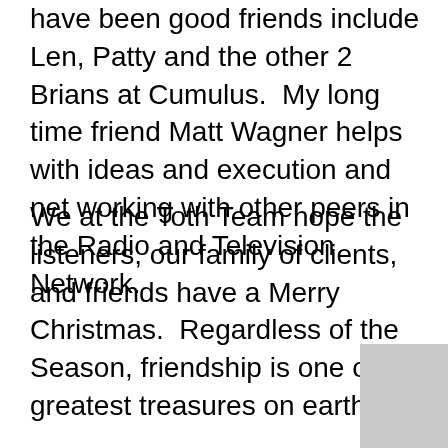have been good friends include Len, Patty and the other 2 Brians at Cumulus.  My long time friend Matt Wagner helps with ideas and execution and net working with other peers in the Radio and Television Network.
We at the Toth Team hope the listeners, our family of clients, and friends have a Merry Christmas.  Regardless of the Season, friendship is one of the greatest treasures on earth.